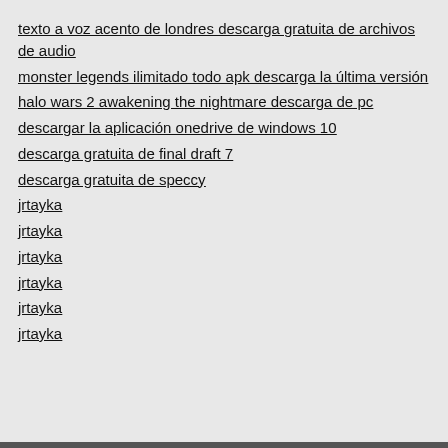texto a voz acento de londres descarga gratuita de archivos de audio
monster legends ilimitado todo apk descarga la última versión
halo wars 2 awakening the nightmare descarga de pc
descargar la aplicación onedrive de windows 10
descarga gratuita de final draft 7
descarga gratuita de speccy
jrtayka
jrtayka
jrtayka
jrtayka
jrtayka
jrtayka